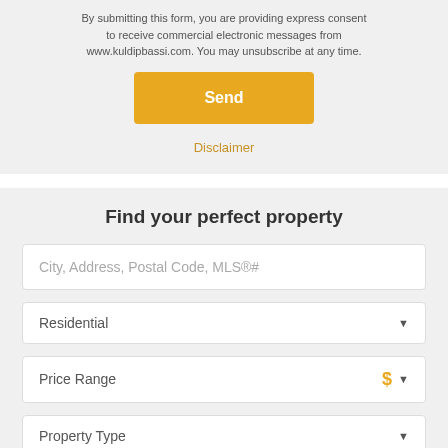By submitting this form, you are providing express consent to receive commercial electronic messages from www.kuldipbassi.com. You may unsubscribe at any time.
Send
Disclaimer
Find your perfect property
City, Address, Postal Code, MLS®#
Residential
Price Range
Property Type
For Sale